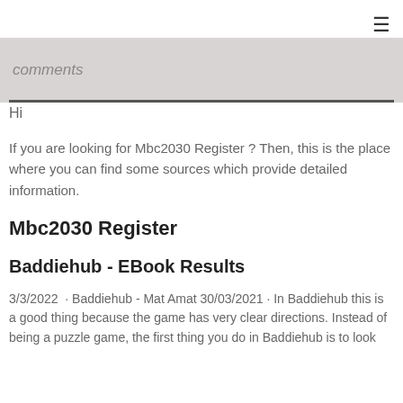☰
comments
Hi
If you are looking for Mbc2030 Register ? Then, this is the place where you can find some sources which provide detailed information.
Mbc2030 Register
Baddiehub - EBook Results
3/3/2022  · Baddiehub - Mat Amat 30/03/2021 · In Baddiehub this is a good thing because the game has very clear directions. Instead of being a puzzle game, the first thing you do in Baddiehub is to look